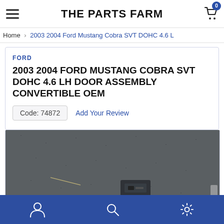THE PARTS FARM
Home > 2003 2004 Ford Mustang Cobra SVT DOHC 4.6 L...
FORD
2003 2004 FORD MUSTANG COBRA SVT DOHC 4.6 LH DOOR ASSEMBLY CONVERTIBLE OEM
Code: 74872   Add Your Review
[Figure (photo): Photo of a car door assembly part on a dark surface, partially visible]
Navigation icons: user account, search, settings